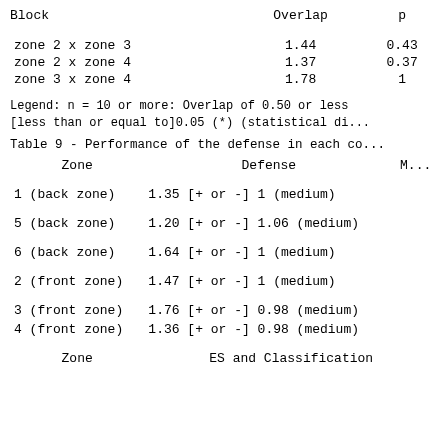| Block | Overlap | p |
| --- | --- | --- |
| zone 2 x zone 3 | 1.44 | 0.43 |
| zone 2 x zone 4 | 1.37 | 0.37 |
| zone 3 x zone 4 | 1.78 | 1 |
Legend: n = 10 or more: Overlap of 0.50 or less [less than or equal to]0.05 (*) (statistical di...
Table 9 - Performance of the defense in each co...
| Zone | Defense | M... |
| --- | --- | --- |
| 1 (back zone) | 1.35 [+ or -] 1 (medium) |  |
| 5 (back zone) | 1.20 [+ or -] 1.06 (medium) |  |
| 6 (back zone) | 1.64 [+ or -] 1 (medium) |  |
| 2 (front zone) | 1.47 [+ or -] 1 (medium) |  |
| 3 (front zone) | 1.76 [+ or -] 0.98 (medium) |  |
| 4 (front zone) | 1.36 [+ or -] 0.98 (medium) |  |
| Zone | ES and Classification |
| --- | --- |